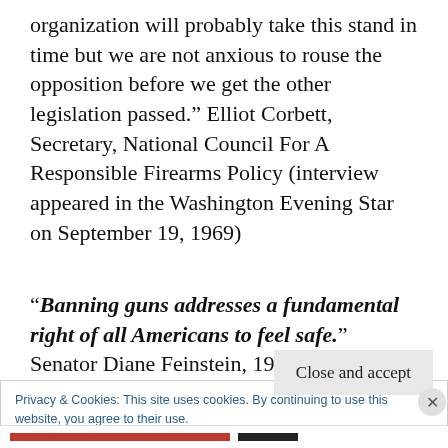organization will probably take this stand in time but we are not anxious to rouse the opposition before we get the other legislation passed.” Elliot Corbett, Secretary, National Council For A Responsible Firearms Policy (interview appeared in the Washington Evening Star on September 19, 1969)
“Banning guns addresses a fundamental right of all Americans to feel safe.” Senator Diane Feinstein, 1993
Privacy & Cookies: This site uses cookies. By continuing to use this website, you agree to their use.
To find out more, including how to control cookies, see here:
Cookie Policy